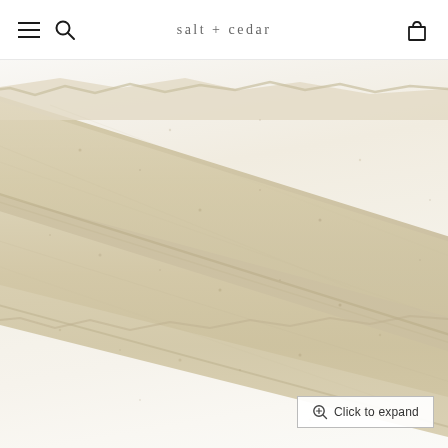salt + cedar
[Figure (photo): Close-up photo of a strip of handmade textured paper or soap/clay bar with torn edges, diagonal orientation, warm beige/cream color, on a white background]
Click to expand